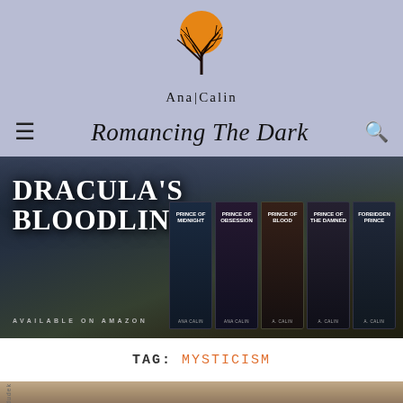[Figure (logo): Ana Calin author logo - orange moon with bare tree silhouette and text 'Ana Calin']
Romancing The Dark
[Figure (illustration): Dracula's Bloodline book series banner showing multiple book covers (Prince of Midnight, Prince of Obsession, Prince of Blood, Prince of the Damned, Forbidden Prince) with text 'DRACULA'S BLOODLINE' and 'AVAILABLE ON AMAZON']
TAG: MYSTICISM
[Figure (photo): Partial bottom image showing blurred desert or sandy landscape, with 'dudek' watermark text rotated vertically on the left side]